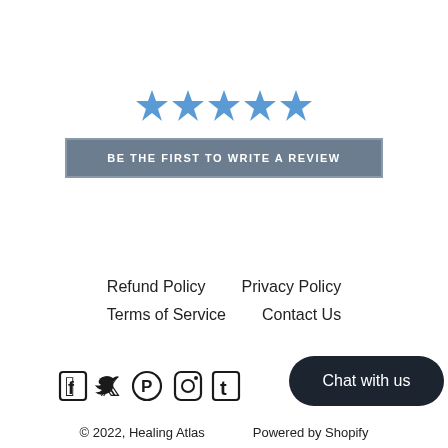[Figure (other): Five blue star icons arranged horizontally for a product review rating display]
BE THE FIRST TO WRITE A REVIEW
Refund Policy   Privacy Policy
Terms of Service   Contact Us
[Figure (other): Social media icons: Facebook, Twitter, Pinterest, Instagram, Tumblr]
Chat with us
© 2022, Healing Atlas   Powered by Shopify